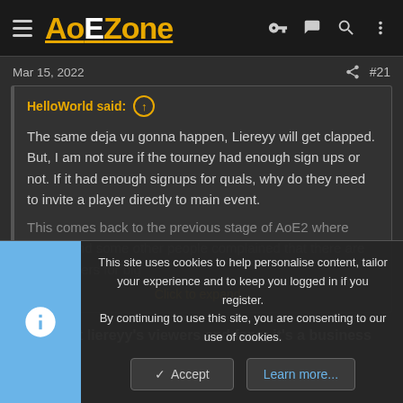AoEZone
Mar 15, 2022   #21
HelloWorld said:
The same deja vu gonna happen, Liereyy will get clapped. But, I am not sure if the tourney had enough sign ups or not. If it had enough signups for quals, why do they need to invite a player directly to main event.

This comes back to the previous stage of AoE2 where Spring and some other people complained that there are no qualifiers for big
Click to expand...
They want liereyy's viewers and fans; it's a business decision.
This site uses cookies to help personalise content, tailor your experience and to keep you logged in if you register. By continuing to use this site, you are consenting to our use of cookies.
Accept   Learn more...